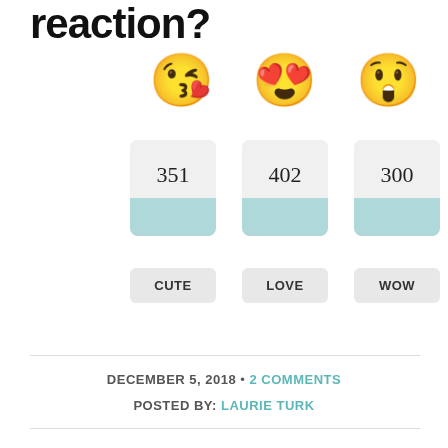reaction?
[Figure (infographic): Three emoji reaction buttons: kissing face with heart (CUTE: 351), heart-eyes face (LOVE: 402), and shocked/wow face (WOW: 300), each displayed above a card showing a count number and a teal bar, with a label button below.]
DECEMBER 5, 2018 • 2 COMMENTS
POSTED BY: LAURIE TURK